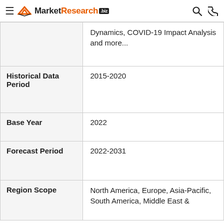MarketResearch.biz
| Field | Value |
| --- | --- |
|  | Dynamics, COVID-19 Impact Analysis and more... |
| Historical Data Period | 2015-2020 |
| Base Year | 2022 |
| Forecast Period | 2022-2031 |
| Region Scope | North America, Europe, Asia-Pacific, South America, Middle East & |